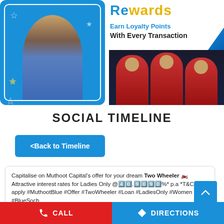[Figure (illustration): Banner showing a woman in blue background on left, and 'Rewards - Earn Loyalty Points With Every Transaction' text with cricket players on right]
SOCIAL TIMELINE
<Back to Timeline
Capitalise on Muthoot Capital's offer for your dream Two Wheeler 🏍️ Attractive interest rates for Ladies Only @40.9090%* p.a *T&Cs apply #MuthootBlue #Offer #TwoWheeler #Loan #LadiesOnly #Women #BlueSoch
#MuthootBlue
#Offer
CALL
DIRECTIONS